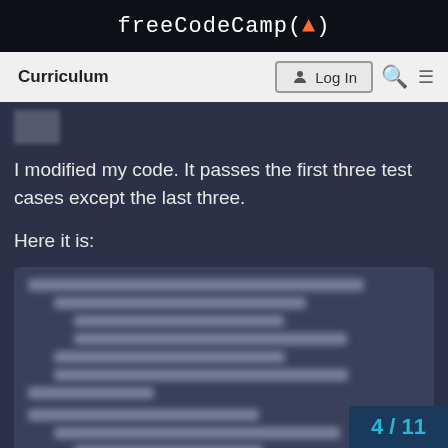freeCodeCamp(🔥)
Curriculum  Log In
[Figure (screenshot): Blurred avatar/profile image thumbnail in top-left of post]
I modified my code. It passes the first three test cases except the last three.
Here it is:
[Figure (screenshot): Blurred code block showing programming code, content obscured]
4 / 11